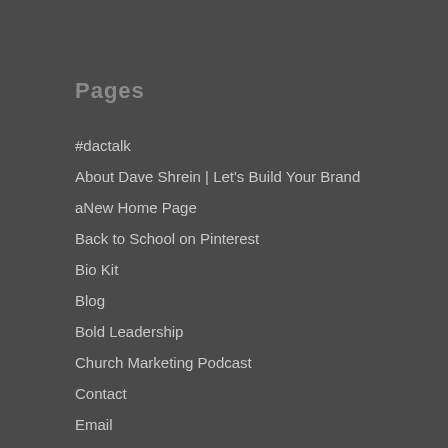Pages
#dactalk
About Dave Shrein | Let's Build Your Brand
aNew Home Page
Back to School on Pinterest
Bio Kit
Blog
Bold Leadership
Church Marketing Podcast
Contact
Email
Email Confirmation
Entrepreneurs
Equipment